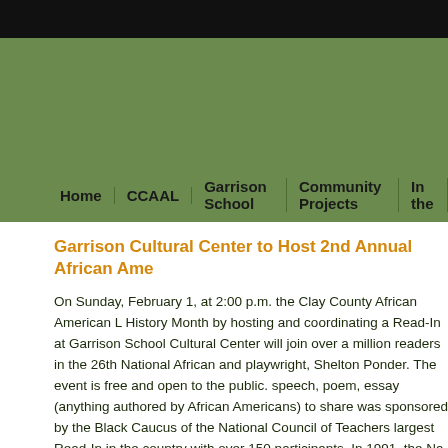Home | CCAAL | Garrison School | Community Projects | In the
Garrison Cultural Center to Host 2nd Annual African Ame
On Sunday, February 1, at 2:00 p.m. the Clay County African American L History Month by hosting and coordinating a Read-In at Garrison School Cultural Center will join over a million readers in the 26th National African and playwright, Shelton Ponder. The event is free and open to the public. speech, poem, essay (anything authored by African Americans) to share was sponsored by the Black Caucus of the National Council of Teachers largest Read-In in the country with over 150 participants. In 1991, the Na The Read-In has been endorsed by the International Reading Association the District of Columbia, the West Indies, and African Countries have par American literacy a traditional part of Black History Month activities.